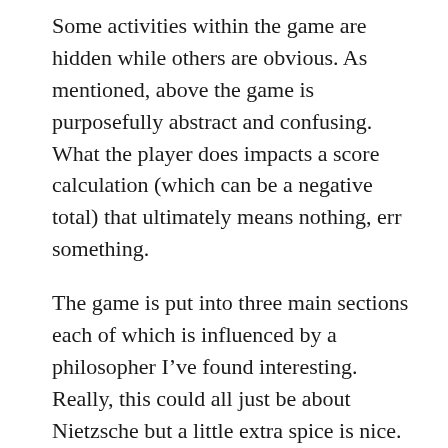Some activities within the game are hidden while others are obvious. As mentioned, above the game is purposefully abstract and confusing. What the player does impacts a score calculation (which can be a negative total) that ultimately means nothing, err something.
The game is put into three main sections each of which is influenced by a philosopher I've found interesting. Really, this could all just be about Nietzsche but a little extra spice is nice.
To experience the true life of Being one needs to do the following:
Be one with oneself